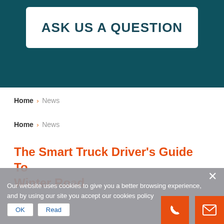[Figure (screenshot): Dark teal banner background at the top of the page]
ASK US A QUESTION
Home › News
Home › News
The Smart Truck Driver’s Guide To Winter Ro…
Our website uses cookies to give you a better browsing experience, and by using our site you accept our cookies policy
OK   Read